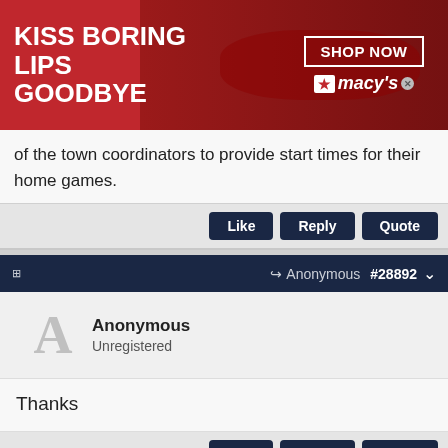[Figure (photo): Macy's advertisement banner with red background, woman's face with red lips, text 'KISS BORING LIPS GOODBYE', 'SHOP NOW' button, and Macy's star logo]
of the town coordinators to provide start times for their home games.
[Figure (screenshot): Action buttons: Like, Reply, Quote]
[Figure (screenshot): Post header bar showing Anonymous reply icon, #28892 post number with chevron]
Anonymous
Unregistered
Thanks
[Figure (screenshot): Action buttons: Like, Reply, Quote]
[Figure (photo): Venus Women's Fashion advertisement with shop thumbnail, title 'Women's Fashion | Shop Online | VENUS', description 'Shop the best in women's fashion, clothing, swimwear', URL 'venus.com', and blue arrow button]